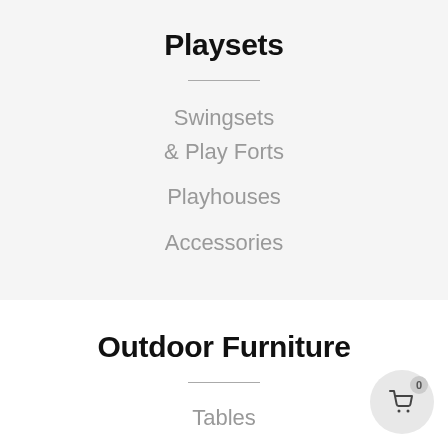Playsets
Swingsets & Play Forts
Playhouses
Accessories
Outdoor Furniture
Tables